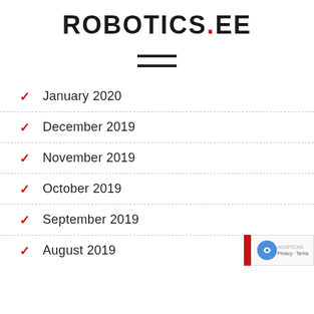ROBOTICS.EE
[Figure (other): Hamburger menu icon — three horizontal lines]
January 2020
December 2019
November 2019
October 2019
September 2019
August 2019